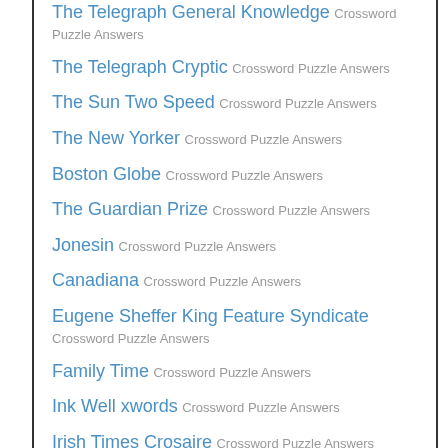The Telegraph General Knowledge Crossword Puzzle Answers
The Telegraph Cryptic Crossword Puzzle Answers
The Sun Two Speed Crossword Puzzle Answers
The New Yorker Crossword Puzzle Answers
Boston Globe Crossword Puzzle Answers
The Guardian Prize Crossword Puzzle Answers
Jonesin Crossword Puzzle Answers
Canadiana Crossword Puzzle Answers
Eugene Sheffer King Feature Syndicate Crossword Puzzle Answers
Family Time Crossword Puzzle Answers
Ink Well xwords Crossword Puzzle Answers
Irish Times Crosaire Crossword Puzzle Answers